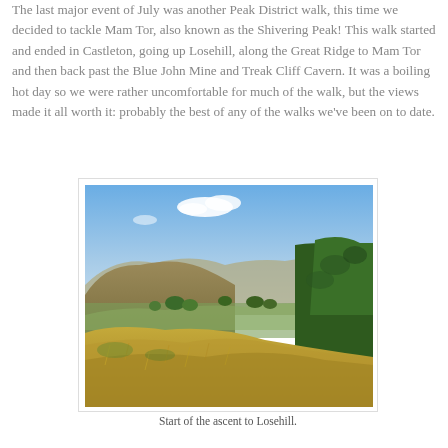The last major event of July was another Peak District walk, this time we decided to tackle Mam Tor, also known as the Shivering Peak!  This walk started and ended in Castleton, going up Losehill, along the Great Ridge to Mam Tor and then back past the Blue John Mine and Treak Cliff Cavern.  It was a boiling hot day so we were rather uncomfortable for much of the walk, but the views made it all worth it: probably the best of any of the walks we've been on to date.
[Figure (photo): Landscape photograph showing rolling hills and fields under a blue sky with a few white clouds. In the foreground, dry golden grass slopes downward. In the middle distance, green and golden fields spread across a valley with scattered trees. In the background, hills rise under the blue sky — this is the view from the start of the ascent to Losehill in the Peak District.]
Start of the ascent to Losehill.